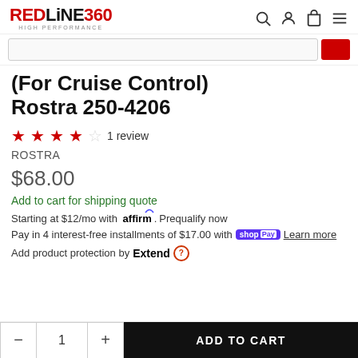REDLINE360 HIGH PERFORMANCE
(For Cruise Control) Rostra 250-4206
4.5 stars · 1 review
ROSTRA
$68.00
Add to cart for shipping quote
Starting at $12/mo with Affirm. Prequalify now
Pay in 4 interest-free installments of $17.00 with Shop Pay Learn more
Add product protection by Extend
- 1 + ADD TO CART